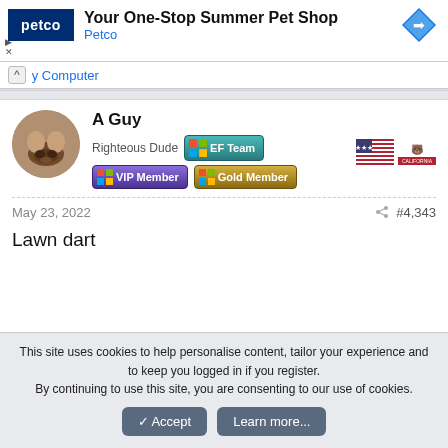[Figure (screenshot): Petco advertisement banner: 'Your One-Stop Summer Pet Shop / Petco' with Petco logo and navigation arrow icon]
y Computer
A Guy
Righteous Dude | EF Team | VIP Member | Gold Member
May 23, 2022   #4,343
Lawn dart
This site uses cookies to help personalise content, tailor your experience and to keep you logged in if you register.
By continuing to use this site, you are consenting to our use of cookies.